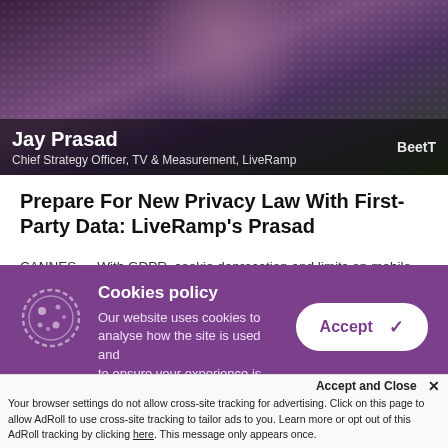[Figure (screenshot): Video thumbnail showing Jay Prasad, Chief Strategy Officer, TV & Measurement, LiveRamp, with BeetTV logo overlay on dark purple/green background]
Prepare For New Privacy Law With First-Party Data: LiveRamp's Prasad
CANNES — With GDPR, cookie deprecation and limits on mobile device identifiers, it has been a tumultuous couple of years for anyone trying to target digital advertising. But more change is on its way. In this video interview with Beet.TV, Jay Prasad, Chief strategy Officer, TV & Measurement, LiveRamp,
Cookies policy
Our website uses cookies to analyse how the site is used and to ensure your experience is
Accept and Close ✕
Your browser settings do not allow cross-site tracking for advertising. Click on this page to allow AdRoll to use cross-site tracking to tailor ads to you. Learn more or opt out of this AdRoll tracking by clicking here. This message only appears once.